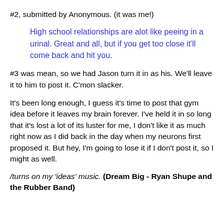#2, submitted by Anonymous. (it was me!)
High school relationships are alot like peeing in a urinal. Great and all, but if you get too close it'll come back and hit you.
#3 was mean, so we had Jason turn it in as his. We'll leave it to him to post it. C'mon slacker.
It's been long enough, I guess it's time to post that gym idea before it leaves my brain forever. I've held it in so long that it's lost a lot of its luster for me, I don't like it as much right now as I did back in the day when my neurons first proposed it. But hey, I'm going to lose it if I don't post it, so I might as well.
/turns on my 'ideas' music. (Dream Big - Ryan Shupe and the Rubber Band)